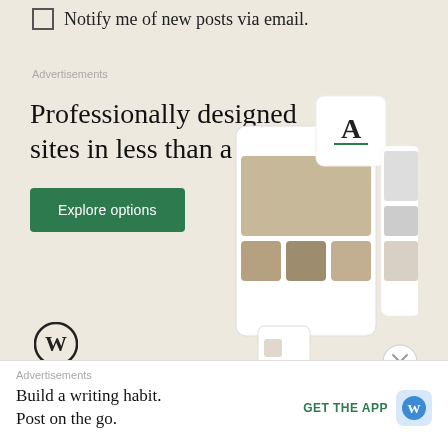Notify me of new posts via email.
Advertisements
[Figure (infographic): WordPress.com advertisement: 'Professionally designed sites in less than a week' with green 'Explore options' button, WordPress logo, and mock website screenshots on the right side.]
Advertisements
[Figure (infographic): WordPress app advertisement at bottom: 'Build a writing habit. Post on the go.' with GET THE APP button and WordPress logo icon.]